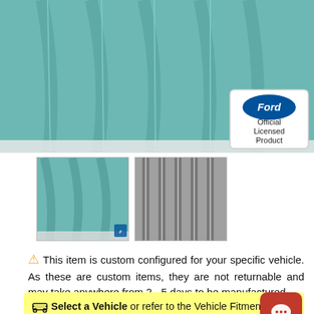[Figure (photo): Teal/turquoise pleated carpet mat product photo with Ford Official Licensed Product badge in bottom right corner]
[Figure (photo): Two thumbnail images of carpet product: left showing teal carpet from a different angle, right showing gray pleated carpet]
⚠ This item is custom configured for your specific vehicle. As these are custom items, they are not returnable and may take anywhere from 2 - 5 days to be manufactured.
🚗 Select a Vehicle or refer to the Vehicle Fitment Table below to verify that this part fits your vehicle.